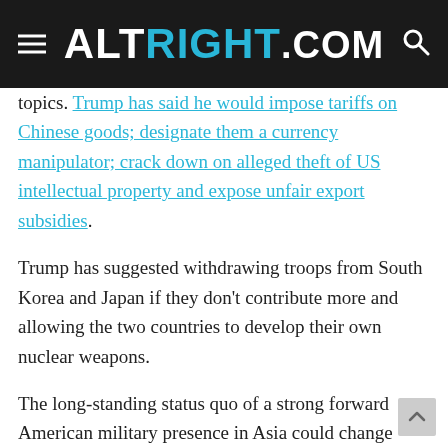ALTRIGHT.COM
topics. Trump has said he would impose tariffs on Chinese goods; designate them a currency manipulator; crack down on alleged theft of US intellectual property and expose unfair export subsidies.
Trump has suggested withdrawing troops from South Korea and Japan if they don't contribute more and allowing the two countries to develop their own nuclear weapons.
The long-standing status quo of a strong forward American military presence in Asia could change under a Trump…